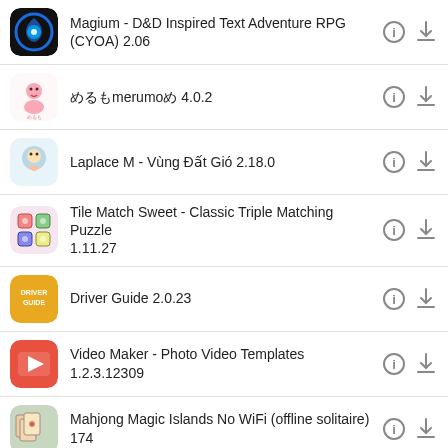Magium - D&D Inspired Text Adventure RPG (CYOA) 2.06
めるもmerumoめ 4.0.2
Laplace M - Vùng Đất Gió 2.18.0
Tile Match Sweet - Classic Triple Matching Puzzle 1.11.27
Driver Guide 2.0.23
Video Maker - Photo Video Templates 1.2.3.12309
Mahjong Magic Islands No WiFi (offline solitaire) 174
Astraware CodeWords 2.60.001